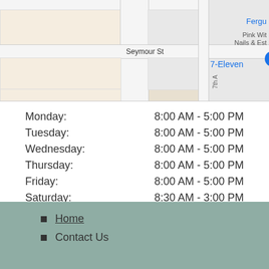[Figure (map): Google Maps partial screenshot showing street map with 7-Eleven location marker on Seymour St, with nearby labels Fergu, Pink Wit, Nails & Est, and 7th Ave road]
| Day | Hours |
| --- | --- |
| Monday: | 8:00 AM - 5:00 PM |
| Tuesday: | 8:00 AM - 5:00 PM |
| Wednesday: | 8:00 AM - 5:00 PM |
| Thursday: | 8:00 AM - 5:00 PM |
| Friday: | 8:00 AM - 5:00 PM |
| Saturday: | 8:30 AM - 3:00 PM |
| Sunday: | Closed |
Please note: We are closed all Statutory Holidays and Long Weekends.
Home
Contact Us